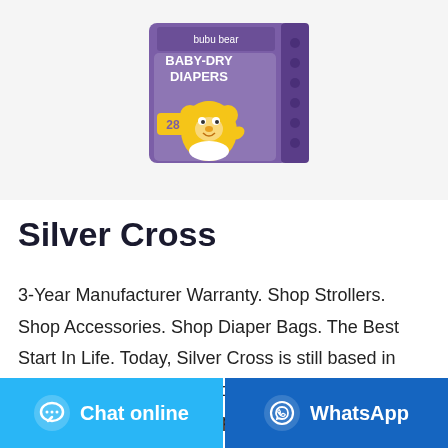[Figure (photo): Bubu Bear Baby-Dry Diapers product box in purple packaging with a cartoon bear character, showing '28 diapers' on the packaging]
Silver Cross
3-Year Manufacturer Warranty. Shop Strollers. Shop Accessories. Shop Diaper Bags. The Best Start In Life. Today, Silver Cross is still based in Yorkshire, England. We continue to develop the best and most innovative prams and nursery products. We're proud to say more than 10 million parents have
Chat online   WhatsApp